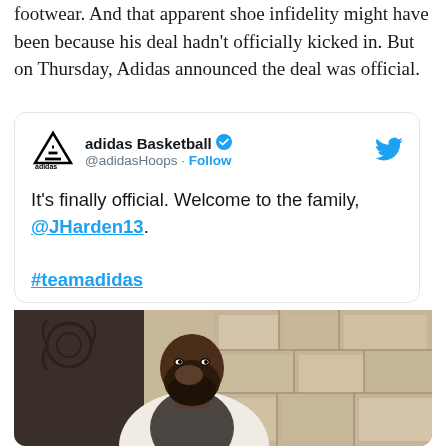footwear. And that apparent shoe infidelity might have been because his deal hadn't officially kicked in. But on Thursday, Adidas announced the deal was official.
[Figure (screenshot): Embedded tweet from @adidasHoops (adidas Basketball, verified) reading: "It's finally official. Welcome to the family, @JHarden13. #teamadidas" with a photo of James Harden posing thoughtfully in a white cardigan.]